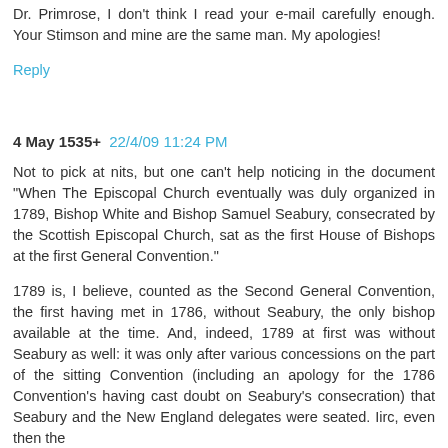Dr. Primrose, I don't think I read your e-mail carefully enough. Your Stimson and mine are the same man. My apologies!
Reply
4 May 1535+  22/4/09 11:24 PM
Not to pick at nits, but one can't help noticing in the document "When The Episcopal Church eventually was duly organized in 1789, Bishop White and Bishop Samuel Seabury, consecrated by the Scottish Episcopal Church, sat as the first House of Bishops at the first General Convention."
1789 is, I believe, counted as the Second General Convention, the first having met in 1786, without Seabury, the only bishop available at the time. And, indeed, 1789 at first was without Seabury as well: it was only after various concessions on the part of the sitting Convention (including an apology for the 1786 Convention's having cast doubt on Seabury's consecration) that Seabury and the New England delegates were seated. Iirc, even then the